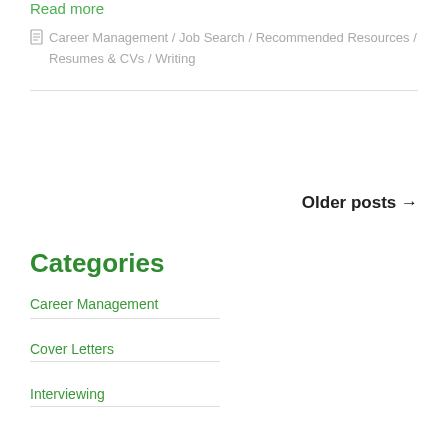Read more
Career Management / Job Search / Recommended Resources / Resumes & CVs / Writing
Older posts →
Categories
Career Management
Cover Letters
Interviewing